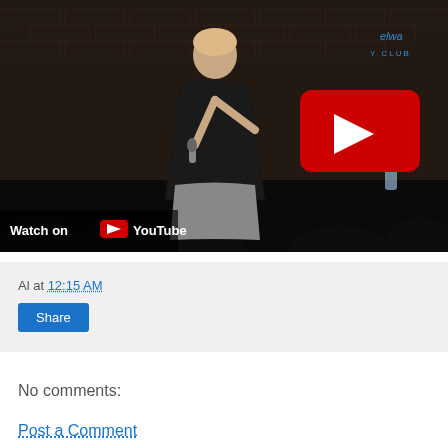[Figure (screenshot): YouTube video thumbnail showing a woman performing stand-up comedy on stage at a comedy club (Broadway Comedy Club visible in background neon sign). She is holding a microphone and wearing a black top. A large YouTube play button overlay is shown in the center. A 'Watch on YouTube' badge appears at the bottom left.]
Al at 12:15 AM
Share
No comments:
Post a Comment